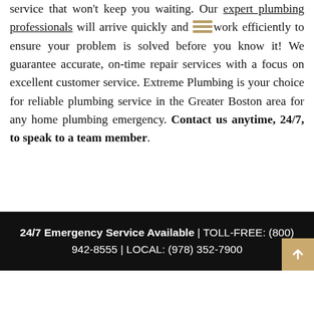service that won't keep you waiting. Our expert plumbing professionals will arrive quickly and work efficiently to ensure your problem is solved before you know it! We guarantee accurate, on-time repair services with a focus on excellent customer service. Extreme Plumbing is your choice for reliable plumbing service in the Greater Boston area for any home plumbing emergency. Contact us anytime, 24/7, to speak to a team member.
24/7 Emergency Service Available | TOLL-FREE: (800) 942-8555 | LOCAL: (978) 352-7900